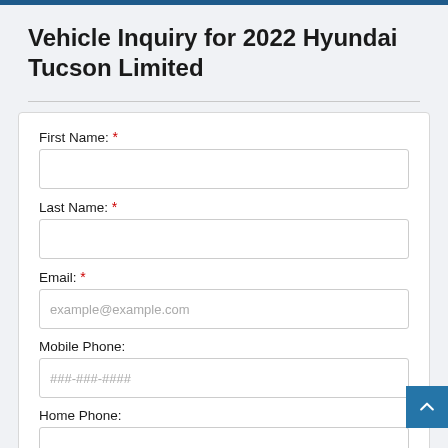Vehicle Inquiry for 2022 Hyundai Tucson Limited
First Name: *
Last Name: *
Email: *
Mobile Phone:
Home Phone: